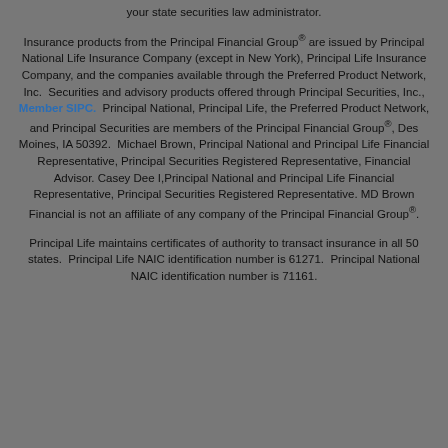your state securities law administrator.
Insurance products from the Principal Financial Group® are issued by Principal National Life Insurance Company (except in New York), Principal Life Insurance Company, and the companies available through the Preferred Product Network, Inc. Securities and advisory products offered through Principal Securities, Inc., Member SIPC. Principal National, Principal Life, the Preferred Product Network, and Principal Securities are members of the Principal Financial Group®, Des Moines, IA 50392. Michael Brown, Principal National and Principal Life Financial Representative, Principal Securities Registered Representative, Financial Advisor. Casey Dee I,Principal National and Principal Life Financial Representative, Principal Securities Registered Representative. MD Brown Financial is not an affiliate of any company of the Principal Financial Group®.
Principal Life maintains certificates of authority to transact insurance in all 50 states. Principal Life NAIC identification number is 61271. Principal National NAIC identification number is 71161.